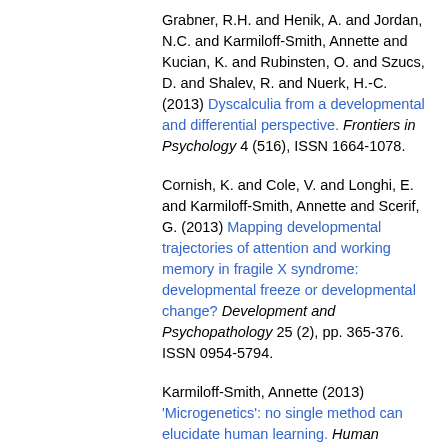Grabner, R.H. and Henik, A. and Jordan, N.C. and Karmiloff-Smith, Annette and Kucian, K. and Rubinsten, O. and Szucs, D. and Shalev, R. and Nuerk, H.-C. (2013) Dyscalculia from a developmental and differential perspective. Frontiers in Psychology 4 (516), ISSN 1664-1078.
Cornish, K. and Cole, V. and Longhi, E. and Karmiloff-Smith, Annette and Scerif, G. (2013) Mapping developmental trajectories of attention and working memory in fragile X syndrome: developmental freeze or developmental change? Development and Psychopathology 25 (2), pp. 365-376. ISSN 0954-5794.
Karmiloff-Smith, Annette (2013) 'Microgenetics': no single method can elucidate human learning. Human Development 56 (1), pp. 47-51. ISSN 0018-716X.
Elsabbagh, Mayada and Hohenberger, A. and Campos, R. and van Herwegen, J. and Serres, J.